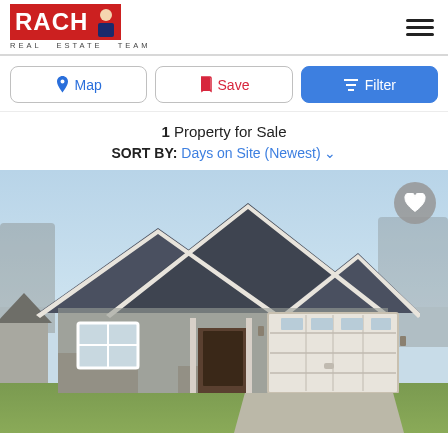[Figure (logo): RACHH Real Estate Team logo with red background and person silhouette]
Map | Save | Filter
1 Property for Sale
SORT BY: Days on Site (Newest)
[Figure (photo): Exterior photo of a new construction single-story craftsman-style home with dark blue/gray siding, stone accents, double garage door, and clear blue sky background]